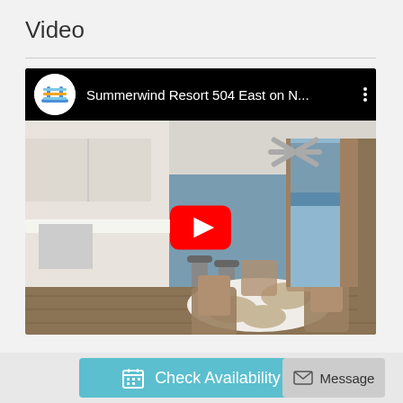Video
[Figure (screenshot): YouTube video thumbnail for 'Summerwind Resort 504 East on N...' showing a vacation rental interior with dining table, wicker chairs, kitchen, and ocean view through large windows. A red YouTube play button is centered on the video. The Navarro Properties logo appears in the top-left corner.]
Check Availability
Message